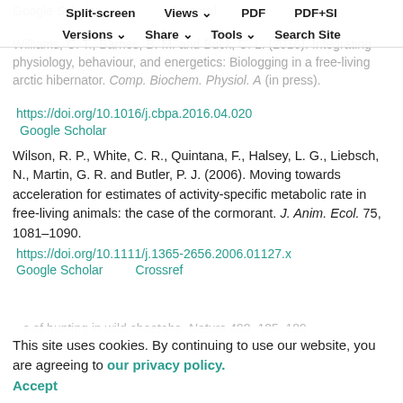Split-screen  Views  PDF  PDF+SI  Versions  Share  Tools  Search Site
Williams, C. T., Barnes, B. M. and Buck, C. L. (2016). Integrating physiology, behaviour, and energetics: Biologging in a free-living arctic hibernator. Comp. Biochem. Physiol. A (in press).
https://doi.org/10.1016/j.cbpa.2016.04.020
Google Scholar
Wilson, R. P., White, C. R., Quintana, F., Halsey, L. G., Liebsch, N., Martin, G. R. and Butler, P. J. (2006). Moving towards acceleration for estimates of activity-specific metabolic rate in free-living animals: the case of the cormorant. J. Anim. Ecol. 75, 1081-1090.
https://doi.org/10.1111/j.1365-2656.2006.01127.x
Google Scholar    Crossref
This site uses cookies. By continuing to use our website, you are agreeing to our privacy policy. Accept
...s of hunting in wild cheetahs. Nature 498, 185-189. https://doi.org/10.1038/nature12295